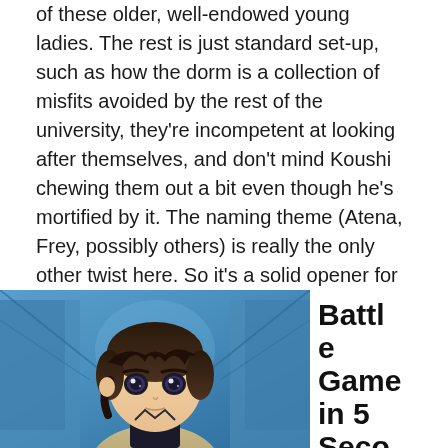of these older, well-endowed young ladies. The rest is just standard set-up, such as how the dorm is a collection of misfits avoided by the rest of the university, they're incompetent at looking after themselves, and don't mind Koushi chewing them out a bit even though he's mortified by it. The naming theme (Atena, Frey, possibly others) is really the only other twist here. So it's a solid opener for those looking for nothing more than fan service and not worth watching otherwise.
[Figure (illustration): Anime character illustration: a young male character with dark brown hair and large dark eyes, wearing a dark top with a light jacket, against a blue corridor background.]
Battle Game in 5 Seconds